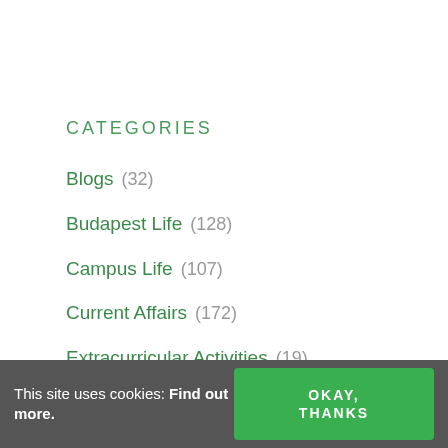CATEGORIES
Blogs  (32)
Budapest Life  (128)
Campus Life  (107)
Current Affairs  (172)
Extracurricular Activities  (19)
Sports and Fitness  (57)
This site uses cookies: Find out more.  OKAY, THANKS